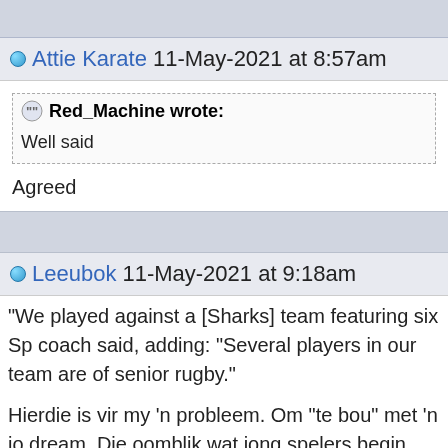Attie Karate 11-May-2021 at 8:57am
Red_Machine wrote:
Well said
Agreed
Leeubok 11-May-2021 at 9:18am
“We played against a [Sharks] team featuring six Sp coach said, adding: “Several players in our team are of senior rugby.”
Hierdie is vir my 'n probleem. Om "te bou" met 'n jo dream. Die oomblik wat jong spelers begin talent w